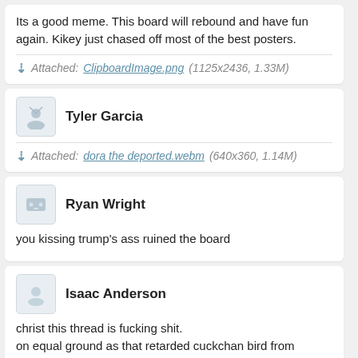Its a good meme. This board will rebound and have fun again. Kikey just chased off most of the best posters.
Attached: ClipboardImage.png (1125x2436, 1.33M)
Tyler Garcia
Attached: dora the deported.webm (640x360, 1.14M)
Ryan Wright
you kissing trump's ass ruined the board
Isaac Anderson
christ this thread is fucking shit.
on equal ground as that retarded cuckchan bird from facebook.